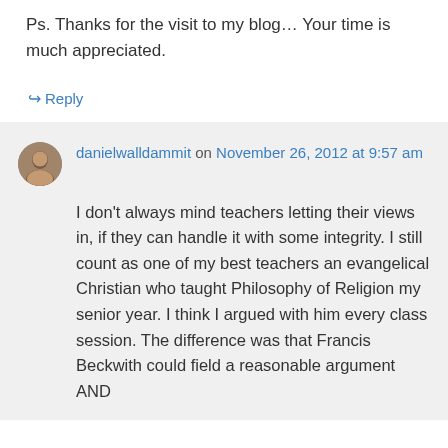Ps. Thanks for the visit to my blog… Your time is much appreciated.
↪ Reply
danielwalldammit on November 26, 2012 at 9:57 am
I don't always mind teachers letting their views in, if they can handle it with some integrity. I still count as one of my best teachers an evangelical Christian who taught Philosophy of Religion my senior year. I think I argued with him every class session. The difference was that Francis Beckwith could field a reasonable argument AND